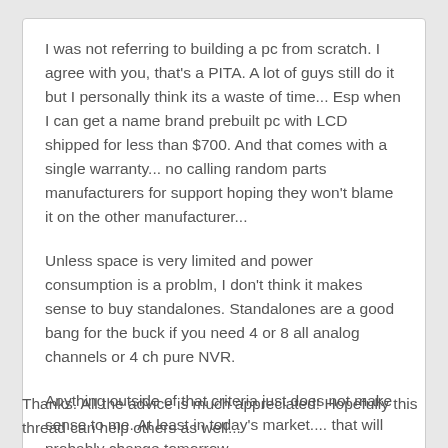I was not referring to building a pc from scratch. I agree with you, that's a PITA. A lot of guys still do it but I personally think its a waste of time... Esp when I can get a name brand prebuilt pc with LCD shipped for less than $700. And that comes with a single warranty... no calling random parts manufacturers for support hoping they won't blame it on the other manufacturer...
Unless space is very limited and power consumption is a problm, I don't think it makes sense to buy standalones. Standalones are a good bang for the buck if you need 4 or 8 all analog channels or 4 ch pure NVR.
Anything outside of that criteria just does not make sense to me. At least in today's market.... that will probably change tomorrow.
Thanks. All the advice is much appreciated! Hopefully this thread can help others as well...